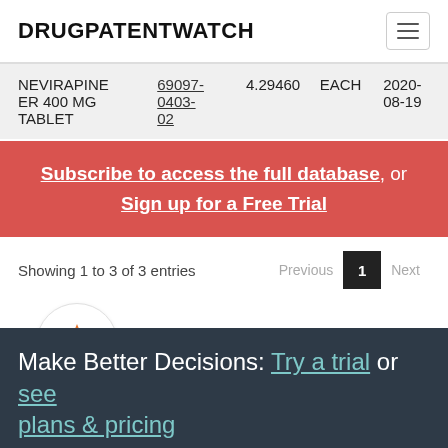DRUGPATENTWATCH
| Drug | NDC | Price | Unit | Date |
| --- | --- | --- | --- | --- |
| NEVIRAPINE ER 400 MG TABLET | 69097-0403-02 | 4.29460 | EACH | 2020-08-19 |
Subscribe to access the full database, or Sign up for a Free Trial
Showing 1 to 3 of 3 entries
[Figure (logo): Star icon in a circle]
Make Better Decisions: Try a trial or see plans & pricing